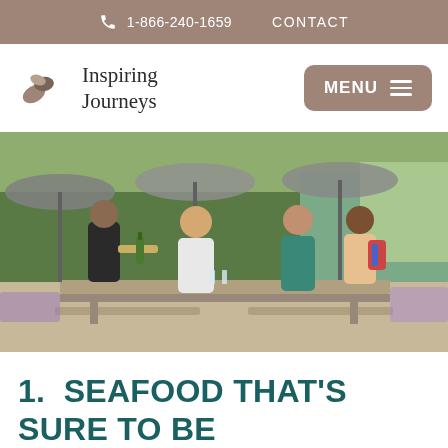1-866-240-1659  CONTACT
[Figure (logo): Inspiring Journeys logo with stylized wave/leaf icon and serif text]
[Figure (photo): Outdoor winery dining scene: a waiter pours wine for guests seated at a long wooden picnic table under grey umbrellas, with lavender and greenery in the background.]
1.  SEAFOOD THAT'S SURE TO BE SENSATIONAL